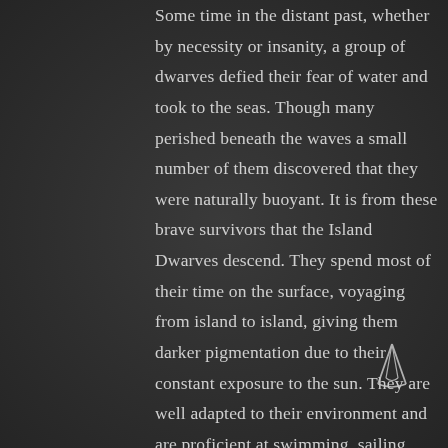Some time in the distant past, whether by necessity or insanity, a group of dwarves defied their fear of water and took to the seas. Though many perished beneath the waves a small number of them discovered that they were naturally buoyant. It is from these brave survivors that the Island Dwarves descend. They spend most of their time on the surface, voyaging from island to island, giving them darker pigmentation due to their constant exposure to the sun. They are well adapted to their environment and are proficient at swimming, sailing, and fishing. Though perhaps the most unique of all dwarven subraces, they are still dwarves at heart and are true artisans when it comes to woodcraft. They tend to build grand interconnected structures for their villages,
[Figure (logo): A stylized arrow or spear-point logo in white/light color, pointing upward, with a thin elegant design]